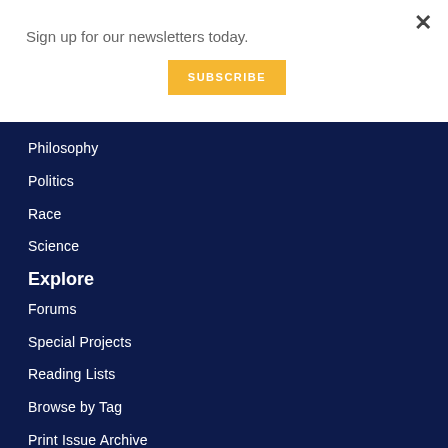Sign up for our newsletters today.
SUBSCRIBE
Philosophy
Politics
Race
Science
Explore
Forums
Special Projects
Reading Lists
Browse by Tag
Print Issue Archive
More Info